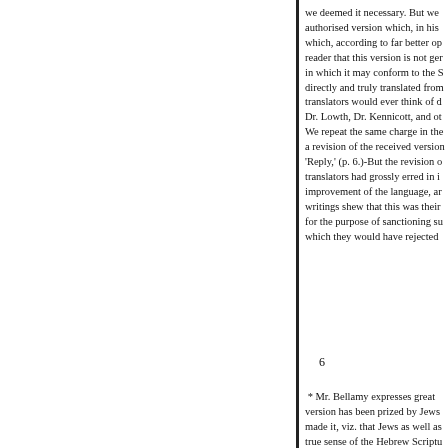we deemed it necessary. But we authorised version which, in his which, according to far better op reader that this version is not ger in which it may conform to the S directly and truly translated from translators would ever think of d Dr. Lowth, Dr. Kennicott, and ot We repeat the same charge in the a revision of the received version 'Reply,' (p. 6.)-But the revision o translators had grossly erred in i improvement of the language, ar writings shew that this was their for the purpose of sanctioning su which they would have rejected
6
* Mr. Bellamy expresses great version has been prized by Jews made it, viz. that Jews as well as true sense of the Hebrew Scriptu particular text. It is curious to ob